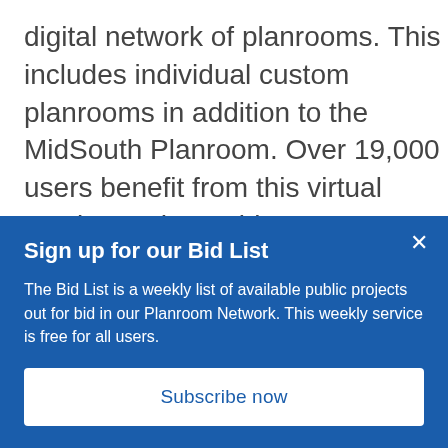digital network of planrooms. This includes individual custom planrooms in addition to the MidSouth Planroom. Over 19,000 users benefit from this virtual service and are able to access upwards of 2,000 projects. 2022 is already shaping up to be a busy year for the construction and design industry!
Sign up for our Bid List
The Bid List is a weekly list of available public projects out for bid in our Planroom Network. This weekly service is free for all users.
Subscribe now